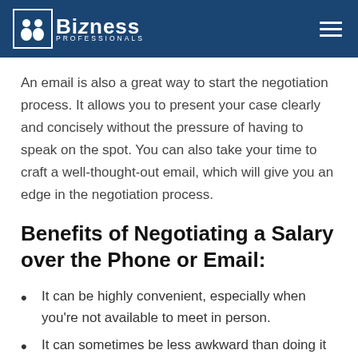Bizness Professionals
An email is also a great way to start the negotiation process. It allows you to present your case clearly and concisely without the pressure of having to speak on the spot. You can also take your time to craft a well-thought-out email, which will give you an edge in the negotiation process.
Benefits of Negotiating a Salary over the Phone or Email:
It can be highly convenient, especially when you're not available to meet in person.
It can sometimes be less awkward than doing it in